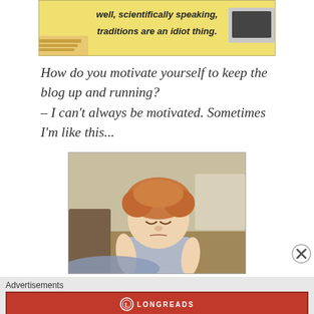[Figure (screenshot): Animated cartoon image with text: 'well, scientifically speaking, traditions are an idiot thing.']
How do you motivate yourself to keep the blog up and running?
– I can't always be motivated. Sometimes I'm like this...
[Figure (photo): Photo of a sleepy toddler with curly reddish hair, sitting on the floor with eyes closed, looking very tired.]
Advertisements
[Figure (infographic): Longreads advertisement banner. Red background with Longreads logo and text: 'The best stories on the web – ours, and everyone else's.']